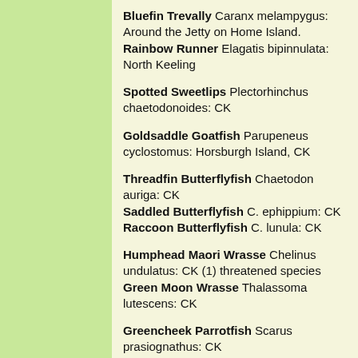Bluefin Trevally Caranx melampygus: Around the Jetty on Home Island. Rainbow Runner Elagatis bipinnulata: North Keeling
Spotted Sweetlips Plectorhinchus chaetodonoides: CK
Goldsaddle Goatfish Parupeneus cyclostomus: Horsburgh Island, CK
Threadfin Butterflyfish Chaetodon auriga: CK
Saddled Butterflyfish C. ephippium: CK
Raccoon Butterflyfish C. lunula: CK
Humphead Maori Wrasse Chelinus undulatus: CK (1) threatened species
Green Moon Wrasse Thalassoma lutescens: CK
Greencheek Parrotfish Scarus prasiognathus: CK
Moorish Idol Zanclus cornutus: CK